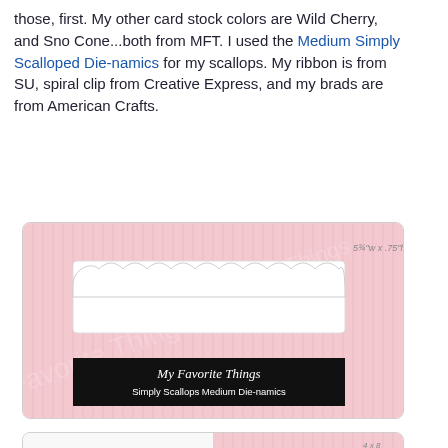those, first. My other card stock colors are Wild Cherry, and Sno Cone...both from MFT. I used the Medium Simply Scalloped Die-namics for my scallops. My ribbon is from SU, spiral clip from Creative Express, and my brads are from American Crafts.
[Figure (photo): Product image of My Favorite Things Simply Scallops Medium Die-namics on pink striped background with scalloped edge die cut shown, with black label bar at bottom.]
[Figure (photo): Product image showing a sewing-themed stamp set with sewing machine, dress form, thread spools, scissors, and sentiment texts on left half; pink striped background with outline die cut shapes on right half.]